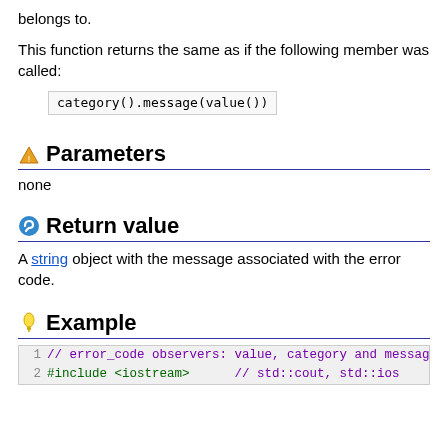belongs to.
This function returns the same as if the following member was called:
category().message(value())
Parameters
none
Return value
A string object with the message associated with the error code.
Example
1 // error_code observers: value, category and messag
2 #include <iostream>          // std::cout, std::ios